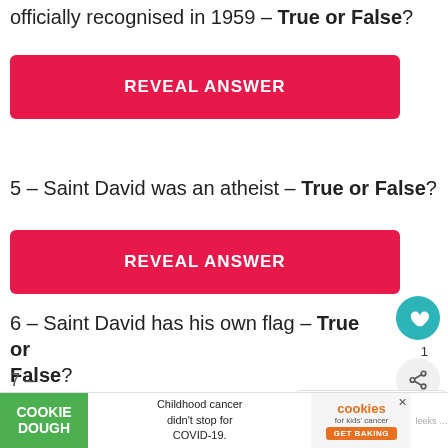officially recognised in 1959 – True or False?
[Figure (other): Red button labeled REVEAL ANSWER]
5 – Saint David was an atheist – True or False?
[Figure (other): Red button labeled REVEAL ANSWER]
6 – Saint David has his own flag – True or False?
[Figure (other): Red button labeled REVEAL ANSWER]
[Figure (infographic): Advertisement bar: Cookie Dough brand, Childhood cancer didn't stop for COVID-19, cookies for kids cancer GET BAKING]